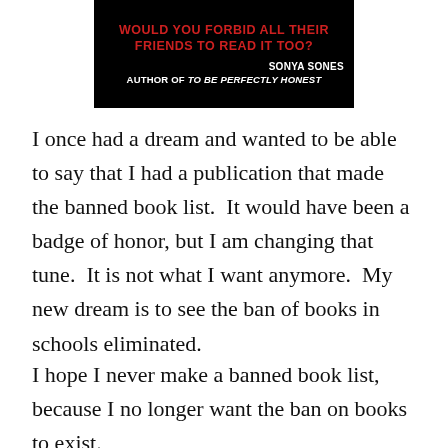[Figure (illustration): Book cover image on black background with red bold text reading 'WOULD YOU FORBID ALL THEIR FRIENDS TO READ IT TOO?' and white text 'SONYA SONES AUTHOR OF TO BE PERFECTLY HONEST']
I once had a dream and wanted to be able to say that I had a publication that made the banned book list.  It would have been a badge of honor, but I am changing that tune.  It is not what I want anymore.  My new dream is to see the ban of books in schools eliminated.
I hope I never make a banned book list, because I no longer want the ban on books to exist.